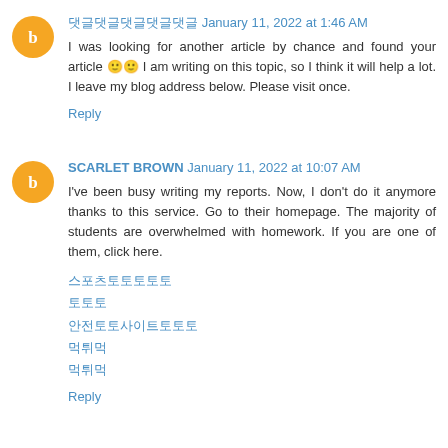댓글 January 11, 2022 at 1:46 AM
I was looking for another article by chance and found your article 🙂 I am writing on this topic, so I think it will help a lot. I leave my blog address below. Please visit once.
Reply
SCARLET BROWN January 11, 2022 at 10:07 AM
I've been busy writing my reports. Now, I don't do it anymore thanks to this service. Go to their homepage. The majority of students are overwhelmed with homework. If you are one of them, click here.
스포츠토토
토토
안전토토사이트
먹튀
먹튀
Reply